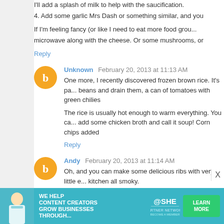I'll add a splash of milk to help with the saucification.
4. Add some garlic Mrs Dash or something similar, and you
If I'm feeling fancy (or like I need to eat more food grou... microwave along with the cheese. Or some mushrooms, or
Reply
Unknown  February 20, 2013 at 11:13 AM
One more, I recently discovered frozen brown rice. It's pa... beans and drain them, a can of tomatoes with green chilies
The rice is usually hot enough to warm everything. You ca... add some chicken broth and call it soup! Corn chips added
Reply
Andy  February 20, 2013 at 11:14 AM
Oh, and you can make some delicious ribs with very little e... kitchen all smoky.
Get a package of baby back ribs, and buy a jar of Co... and put in the fridge for at least 12 hours. Turn your o
[Figure (infographic): SHE Partner Network advertisement banner: 'We help content creators grow businesses through...' with Learn More button]